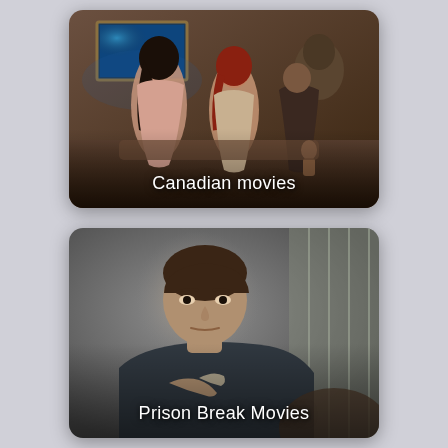[Figure (photo): Movie scene showing women in period costumes sitting in a dark Victorian room with taxidermied animals and dolls, with a glowing blue painting on the wall. Text overlay reads 'Canadian movies'.]
[Figure (photo): Movie scene showing a close-up of a stern-looking man in a prison or institutional setting holding something small, with another figure blurred in the foreground. Text overlay reads 'Prison Break Movies'.]